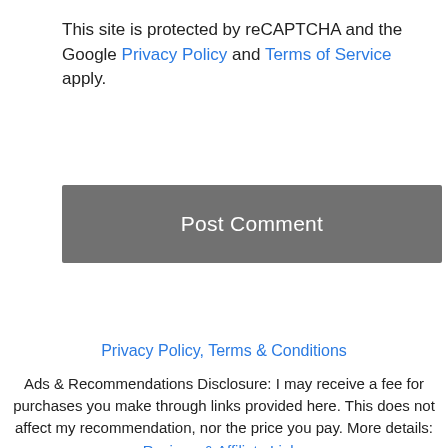This site is protected by reCAPTCHA and the Google Privacy Policy and Terms of Service apply.
[Figure (other): Post Comment button — a gray rectangular button with white text reading 'Post Comment']
Privacy Policy, Terms & Conditions
Ads & Recommendations Disclosure: I may receive a fee for purchases you make through links provided here. This does not affect my recommendation, nor the price you pay. More details: Reviews & Affiliate Links
[Figure (screenshot): CarMax advertisement with logo showing 'cm' in yellow on dark blue background, text 'Buy Your Used Car Your Way' and 'CarMax', blue diamond arrow icon, and ad control icons (play/close)]